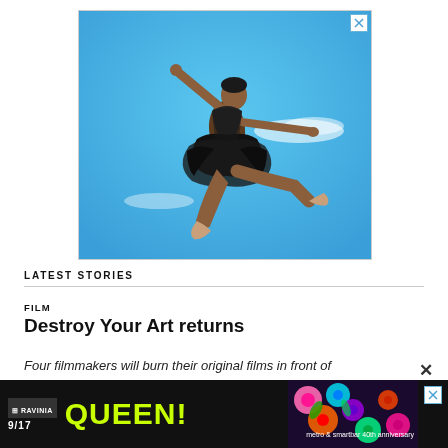[Figure (photo): Advertisement banner featuring a Black female ballet dancer in a black tutu and leotard performing a grand jeté leap against a bright blue sky. A small X close button is in the top-right corner of the ad.]
LATEST STORIES
FILM
Destroy Your Art returns
Four filmmakers will burn their original films in front of
[Figure (photo): Bottom advertisement banner for Ravinia 9/17 QUEEN! event, metro & smartbar 40th anniversary, with colorful floral graphics on dark background.]